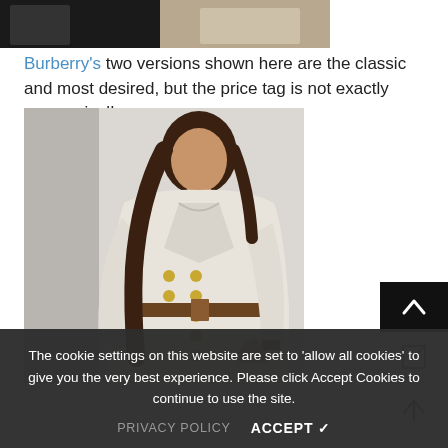[Figure (photo): Partial view of a fashion photo showing a couple in coats, cropped at the top]
Burberry's two versions shown here are the classic and most desired, but the price tag is not exactly economical!
[Figure (photo): A woman wearing a white/cream Burberry double-breasted trench coat with gold buttons and a belt, posing against a light gray background]
The cookie settings on this website are set to 'allow all cookies' to give you the very best experience. Please click Accept Cookies to continue to use the site.
PRIVACY POLICY   ACCEPT ✓